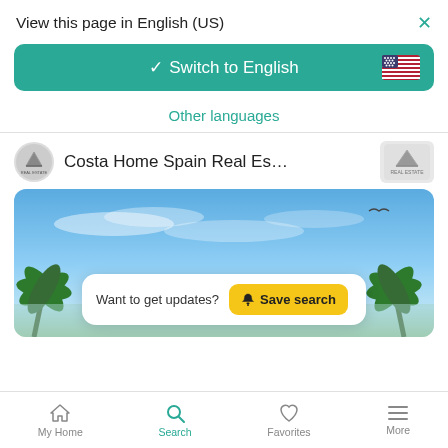View this page in English (US)
×
✓ Switch to English
Other languages
Costa Home Spain Real Es…
[Figure (screenshot): Hero banner with blue sky, clouds, palm trees, a bird, and a 'Want to get updates? Save search' card overlay]
Want to get updates?
Save search
My Home
Search
Favorites
More